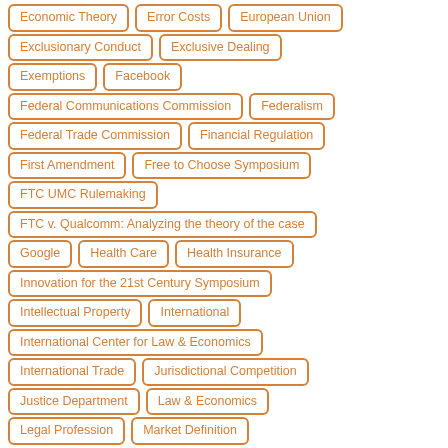Economic Theory
Error Costs
European Union
Exclusionary Conduct
Exclusive Dealing
Exemptions
Facebook
Federal Communications Commission
Federalism
Federal Trade Commission
Financial Regulation
First Amendment
Free to Choose Symposium
FTC UMC Rulemaking
FTC v. Qualcomm: Analyzing the theory of the case
Google
Health Care
Health Insurance
Innovation for the 21st Century Symposium
Intellectual Property
International
International Center for Law & Economics
International Trade
Jurisdictional Competition
Justice Department
Law & Economics
Legal Profession
Market Definition